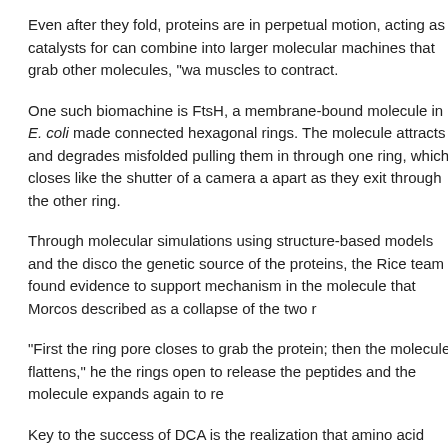Even after they fold, proteins are in perpetual motion, acting as catalysts for can combine into larger molecular machines that grab other molecules, "wa muscles to contract.
One such biomachine is FtsH, a membrane-bound molecule in E. coli made connected hexagonal rings. The molecule attracts and degrades misfolded pulling them in through one ring, which closes like the shutter of a camera a apart as they exit through the other ring.
Through molecular simulations using structure-based models and the disco the genetic source of the proteins, the Rice team found evidence to support mechanism in the molecule that Morcos described as a collapse of the two r
"First the ring pore closes to grab the protein; then the molecule flattens," he the rings open to release the peptides and the molecule expands again to re
Key to the success of DCA is the realization that amino acid mutations repre specific purposes. The contact maps created by DCA can reveal previously between functional states, like the paddling in FtsH, Onuchic said.
"We can look at the evolutionary tree of these proteins and see which pairs